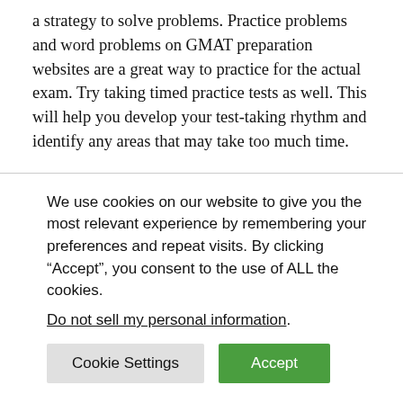a strategy to solve problems. Practice problems and word problems on GMAT preparation websites are a great way to practice for the actual exam. Try taking timed practice tests as well. This will help you develop your test-taking rhythm and identify any areas that may take too much time.
The quantitative section of the GMAT is scored on a scale of 0-60. The scoring system is adaptive and will adjust difficulty based on the number of questions answered correctly. The difficulty of the question types...
We use cookies on our website to give you the most relevant experience by remembering your preferences and repeat visits. By clicking “Accept”, you consent to the use of ALL the cookies.
Do not sell my personal information.